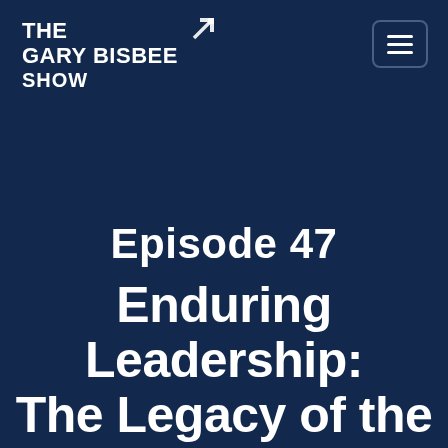[Figure (logo): The Gary Bisbee Show logo with upward arrow icon in top left, and hamburger menu button in top right, on dark navy background]
Episode 47
Enduring Leadership: The Legacy of the Tuskegee Airmen